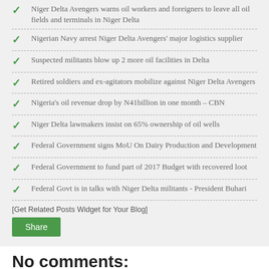Niger Delta Avengers warns oil workers and foreigners to leave all oil fields and terminals in Niger Delta
Nigerian Navy arrest Niger Delta Avengers' major logistics supplier
Suspected militants blow up 2 more oil facilities in Delta
Retired soldiers and ex-agitators mobilize against Niger Delta Avengers
Nigeria's oil revenue drop by N41billion in one month – CBN
Niger Delta lawmakers insist on 65% ownership of oil wells
Federal Government signs MoU On Dairy Production and Development
Federal Government to fund part of 2017 Budget with recovered loot
Federal Govt is in talks with Niger Delta militants - President Buhari
[Get Related Posts Widget for Your Blog]
No comments: